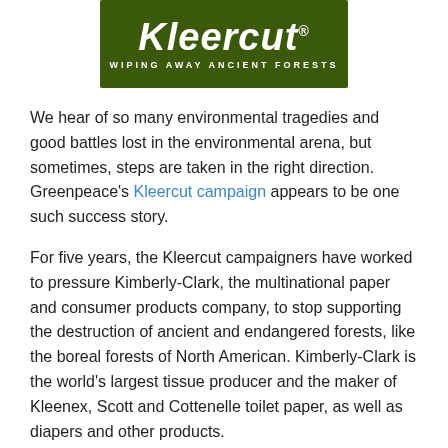[Figure (logo): Kleercut logo on dark green background with cursive white text 'Kleercut' and registered trademark symbol, subtitle 'WIPING AWAY ANCIENT FORESTS']
We hear of so many environmental tragedies and good battles lost in the environmental arena, but sometimes, steps are taken in the right direction. Greenpeace's Kleercut campaign appears to be one such success story.
For five years, the Kleercut campaigners have worked to pressure Kimberly-Clark, the multinational paper and consumer products company, to stop supporting the destruction of ancient and endangered forests, like the boreal forests of North American. Kimberly-Clark is the world's largest tissue producer and the maker of Kleenex, Scott and Cottenelle toilet paper, as well as diapers and other products.